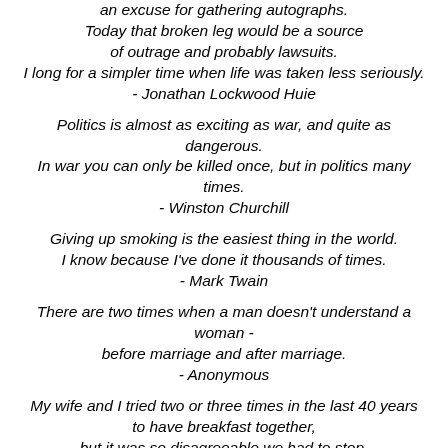an excuse for gathering autographs. Today that broken leg would be a source of outrage and probably lawsuits. I long for a simpler time when life was taken less seriously. - Jonathan Lockwood Huie
Politics is almost as exciting as war, and quite as dangerous. In war you can only be killed once, but in politics many times. - Winston Churchill
Giving up smoking is the easiest thing in the world. I know because I've done it thousands of times. - Mark Twain
There are two times when a man doesn't understand a woman - before marriage and after marriage. - Anonymous
My wife and I tried two or three times in the last 40 years to have breakfast together, but it was so disagreeable we had to stop. - Winston Churchill